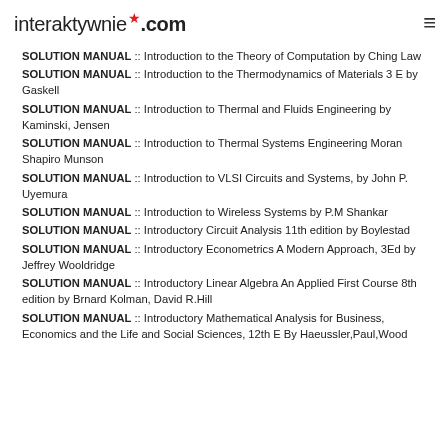interaktywnie.com
SOLUTION MANUAL :: Introduction to the Theory of Computation by Ching Law
SOLUTION MANUAL :: Introduction to the Thermodynamics of Materials 3 E by Gaskell
SOLUTION MANUAL :: Introduction to Thermal and Fluids Engineering by Kaminski, Jensen
SOLUTION MANUAL :: Introduction to Thermal Systems Engineering Moran Shapiro Munson
SOLUTION MANUAL :: Introduction to VLSI Circuits and Systems, by John P. Uyemura
SOLUTION MANUAL :: Introduction to Wireless Systems by P.M Shankar
SOLUTION MANUAL :: Introductory Circuit Analysis 11th edition by Boylestad
SOLUTION MANUAL :: Introductory Econometrics A Modern Approach, 3Ed by Jeffrey Wooldridge
SOLUTION MANUAL :: Introductory Linear Algebra An Applied First Course 8th edition by Brnard Kolman, David R.Hill
SOLUTION MANUAL :: Introductory Mathematical Analysis for Business, Economics and the Life and Social Sciences, 12th E By Haeussler,Paul,Wood